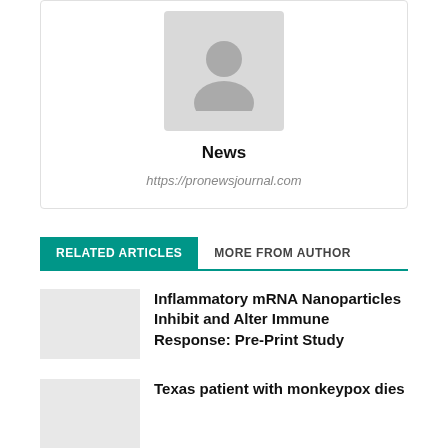[Figure (photo): Generic user avatar placeholder — grey silhouette on light grey background]
News
https://pronewsjournal.com
RELATED ARTICLES MORE FROM AUTHOR
Inflammatory mRNA Nanoparticles Inhibit and Alter Immune Response: Pre-Print Study
Texas patient with monkeypox dies